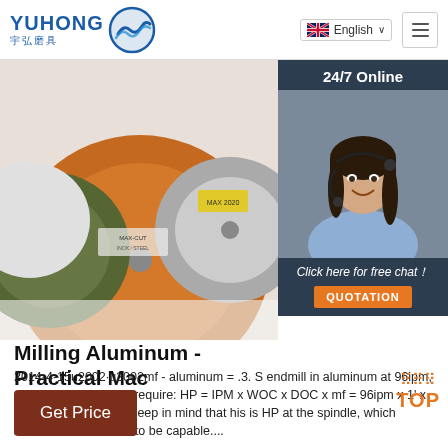YUHONG 宇弘磨具 | English
[Figure (photo): Various grinding/cutting discs displayed on a white background, including orange, green, and silver colored abrasive wheels]
[Figure (photo): 24/7 Online panel with female customer service agent wearing headset, smiling, with 'Click here for free chat!' and QUOTATION button]
Milling Aluminum - Practical Mac
2014-4-15u2002·u2002mf - aluminum = .3. S endmill in aluminum at 96ipm, a slotting cut a would require: HP = IPM x WOC x DOC x mf = 96ipm x 1' x 0.5' x 0.3 = 14.4 HP. Keep in mind that his is HP at the spindle, which means the motor has to be capable....
Get Price